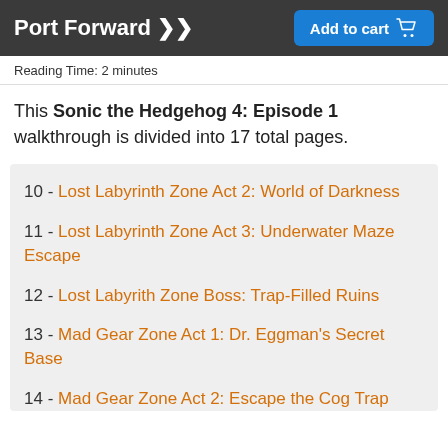Port Forward >> | Add to cart
Reading Time: 2 minutes
This Sonic the Hedgehog 4: Episode 1 walkthrough is divided into 17 total pages.
10 - Lost Labyrinth Zone Act 2: World of Darkness
11 - Lost Labyrinth Zone Act 3: Underwater Maze Escape
12 - Lost Labyrith Zone Boss: Trap-Filled Ruins
13 - Mad Gear Zone Act 1: Dr. Eggman's Secret Base
14 - Mad Gear Zone Act 2: Escape the Cog Trap